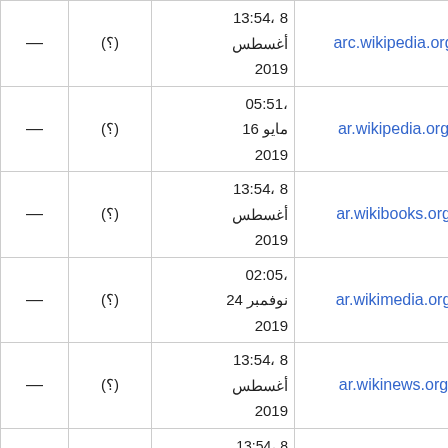| arc.wikipedia.org | 13:54، 8 أغسطس 2019 | (?) | — |
| ar.wikipedia.org | 05:51، 16 مايو 2019 | (?) | — |
| ar.wikibooks.org | 13:54، 8 أغسطس 2019 | (?) | — |
| ar.wikimedia.org | 02:05، 24 نوفمبر 2019 | (?) | — |
| ar.wikinews.org | 13:54، 8 أغسطس 2019 | (?) | — |
|  | 13:54، 8 |  |  |